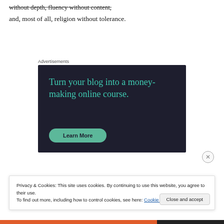without depth, fluency without content,
and, most of all, religion without tolerance.
Advertisements
[Figure (other): Advertisement banner with dark navy background. Text reads 'Turn your blog into a money-making online course.' with a teal 'Learn More' button.]
Privacy & Cookies: This site uses cookies. By continuing to use this website, you agree to their use.
To find out more, including how to control cookies, see here: Cookie Policy